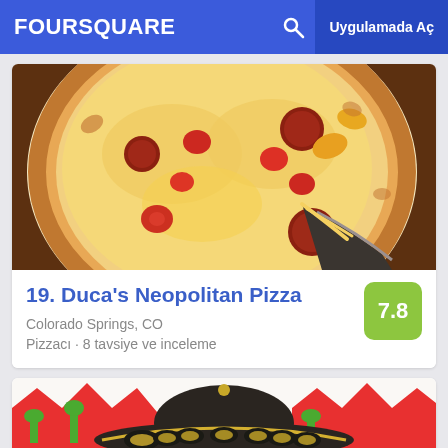FOURSQUARE  Uygulamada Aç
[Figure (photo): Close-up photo of a Neopolitan pizza with tomatoes, pepperoni, and melted cheese, with a slice being lifted]
19. Duca's Neopolitan Pizza
Colorado Springs, CO
Pizzacı · 8 tavsiye ve inceleme
[Figure (illustration): Partial view of a colorful Mexican sombrero hat illustration]